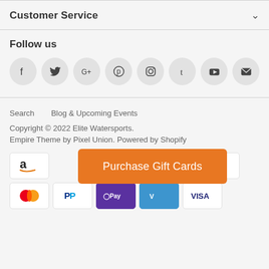Customer Service
Follow us
[Figure (illustration): Row of social media icons: Facebook, Twitter, Google+, Pinterest, Instagram, Tumblr, YouTube, Email]
Search
Blog & Upcoming Events
Copyright © 2022 Elite Watersports.
Empire Theme by Pixel Union. Powered by Shopify
[Figure (other): Purchase Gift Cards orange button overlaying payment method icons]
[Figure (other): Payment card icons: Amazon, Apple Pay, Mastercard, PayPal, Shop Pay, Venmo, Visa]